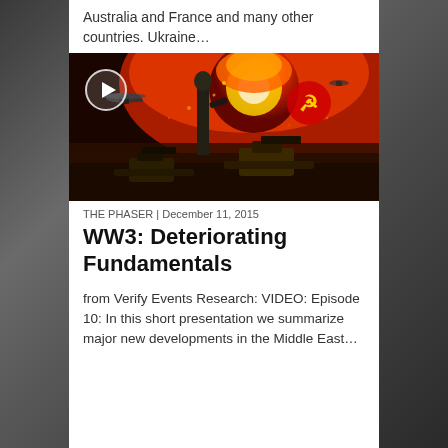Australia and France and many other countries. Ukraine…
[Figure (photo): Dramatic apocalyptic war illustration showing military tanks, a Statue of Liberty-like figure, explosions with fiery orange sky, Soviet hammer-and-sickle symbol, helicopters, and soldiers in a wartime scene. A play button overlay is visible in the top-left corner.]
THE PHASER | December 11, 2015
WW3: Deteriorating Fundamentals
from Verify Events Research: VIDEO: Episode 10: In this short presentation we summarize major new developments in the Middle East…